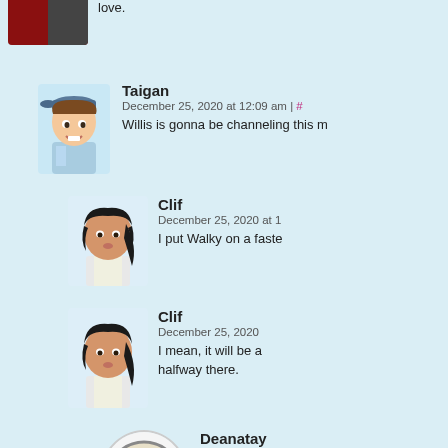love.
Taigan
December 25, 2020 at 12:09 am | #
Willis is gonna be channeling this m
Clif
December 25, 2020 at 1
I put Walky on a faste
Clif
December 25, 2020
I mean, it will be a halfway there.
Deanatay
December 25, 2
Nah, Joyce is successful co